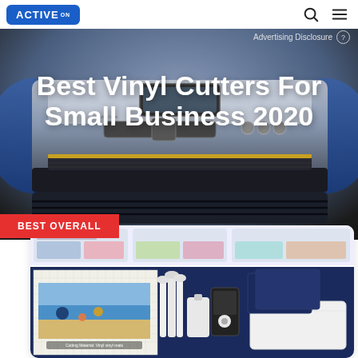[Figure (logo): ActiveON logo in blue rounded rectangle]
Advertising Disclosure ?
[Figure (photo): Large vinyl cutting machine on blue/gray background]
Best Vinyl Cutters For Small Business 2020
BEST OVERALL
[Figure (photo): Product card showing Cricut vinyl cutter accessories kit with mat, tools, and accessories on dark blue background, plus Pinterest-style thumbnails at top]